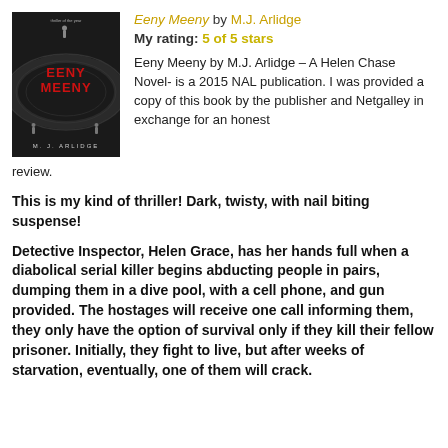[Figure (photo): Book cover of 'Eeny Meeny' by M.J. Arlidge showing dark atmospheric cover with red title text and silhouetted figures on a curved structure]
Eeny Meeny by M.J. Arlidge
My rating: 5 of 5 stars
Eeny Meeny by M.J. Arlidge – A Helen Chase Novel- is a 2015 NAL publication. I was provided a copy of this book by the publisher and Netgalley in exchange for an honest review.
This is my kind of thriller! Dark, twisty, with nail biting suspense!
Detective Inspector, Helen Grace, has her hands full when a diabolical serial killer begins abducting people in pairs, dumping them in a dive pool, with a cell phone, and gun provided. The hostages will receive one call informing them, they only have the option of survival only if they kill their fellow prisoner. Initially, they fight to live, but after weeks of starvation, eventually, one of them will crack.